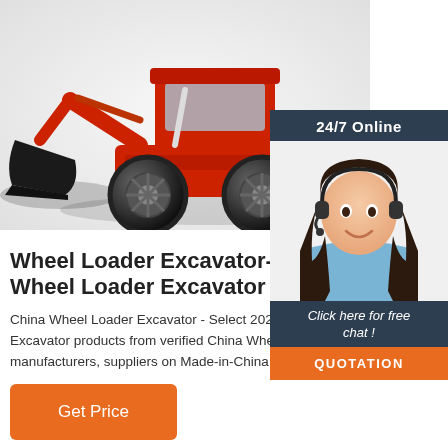[Figure (photo): Red wheel loader excavator with black bucket, large rubber tires, on white background — product photo from Made-in-China.com listing]
[Figure (photo): Chat widget showing '24/7 Online' banner, female customer service agent with headset, 'Click here for free chat!' call to action, and orange QUOTATION button]
Wheel Loader Excavator-China Wheel Loader Excavator ...
China Wheel Loader Excavator - Select 2021 Wheel Loader Excavator products from verified China Wheel Loader Excavator manufacturers, suppliers on Made-in-China.com.
Get Price